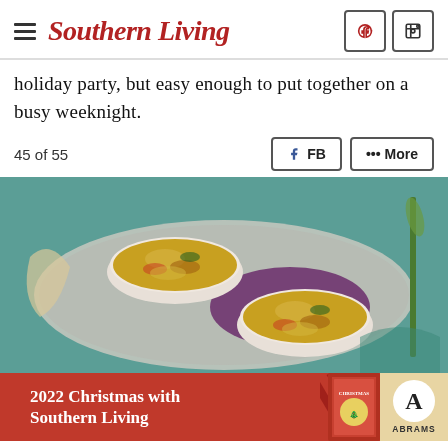Southern Living
holiday party, but easy enough to put together on a busy weeknight.
45 of 55
[Figure (photo): Two white ramekins filled with a cornbread and vegetable casserole topped with golden crumbs, served on a decorative silver tray with a purple napkin and teal background.]
[Figure (screenshot): Advertisement banner for '2022 Christmas with Southern Living' book by Abrams, showing red background with book cover and Abrams publisher logo.]